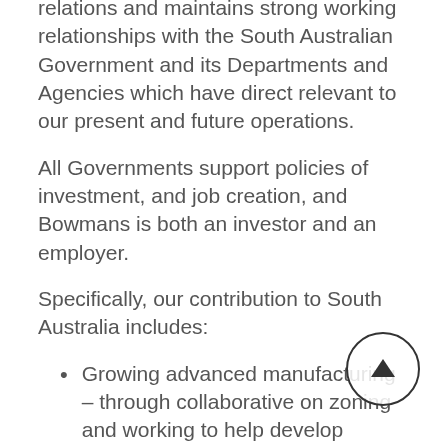relations and maintains strong working relationships with the South Australian Government and its Departments and Agencies which have direct relevant to our present and future operations.
All Governments support policies of investment, and job creation, and Bowmans is both an investor and an employer.
Specifically, our contribution to South Australia includes:
Growing advanced manufacturing – through collaborative on zoning and working to help develop mining and agriculture
Employment and investment – creating more than 100 jobs on site and the investment of $70 million since 2000 supported by a State Government Regional Development Fund Grant